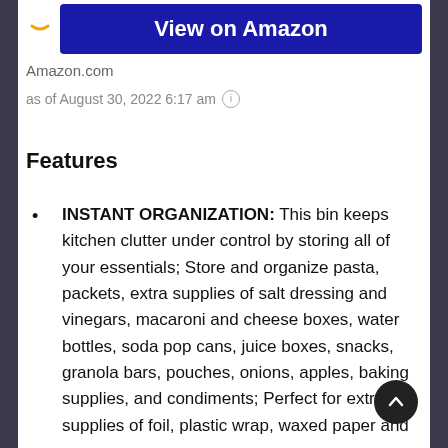[Figure (logo): Amazon logo arc in yellow/gold on left side]
View on Amazon
Amazon.com
as of August 30, 2022 6:17 am ⓘ
Features
INSTANT ORGANIZATION: This bin keeps kitchen clutter under control by storing all of your essentials; Store and organize pasta, packets, extra supplies of salt dressing and vinegars, macaroni and cheese boxes, water bottles, soda pop cans, juice boxes, snacks, granola bars, pouches, onions, apples, baking supplies, and condiments; Perfect for extra supplies of foil, plastic wrap, waxed paper and